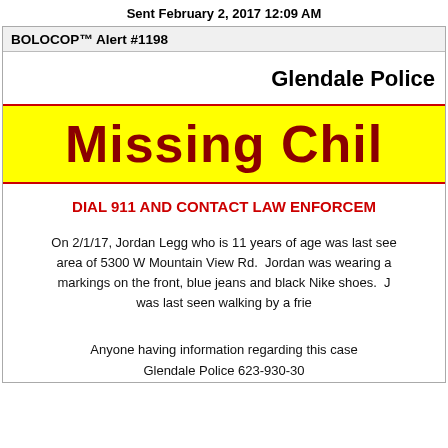Sent February 2, 2017 12:09 AM
BOLOCOP™ Alert #1198
Glendale Police
Missing Chil
DIAL 911 AND CONTACT LAW ENFORCEM
On 2/1/17, Jordan Legg who is 11 years of age was last see area of 5300 W Mountain View Rd.  Jordan was wearing a markings on the front, blue jeans and black Nike shoes.  J was last seen walking by a frie
Anyone having information regarding this case
Glendale Police 623-930-30